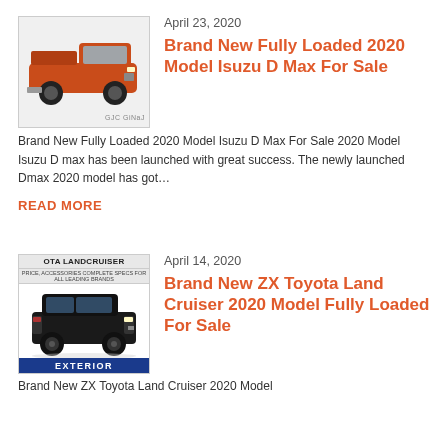April 23, 2020
[Figure (photo): Orange Isuzu D-Max pickup truck with watermark 'GJC GiNaJ']
Brand New Fully Loaded 2020 Model Isuzu D Max For Sale
Brand New Fully Loaded 2020 Model Isuzu D Max For Sale 2020 Model Isuzu D max has been launched with great success. The newly launched Dmax 2020 model has got…
READ MORE
April 14, 2020
[Figure (photo): Black Toyota Land Cruiser SUV with banner 'OTA LANDCRUISER' at top and 'EXTERIOR' label at bottom]
Brand New ZX Toyota Land Cruiser 2020 Model Fully Loaded For Sale
Brand New ZX Toyota Land Cruiser 2020 Model